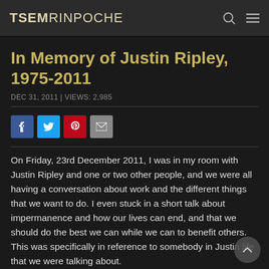TSEM RINPOCHE
In Memory of Justin Ripley, 1975-2011
DEC 31, 2011 | VIEWS: 2,985
[Figure (other): Social sharing buttons: Facebook (blue), Twitter (light blue), Pinterest (red), Email (grey)]
On Friday, 23rd December 2011, I was in my room with Justin Ripley and one or two other people, and we were all having a conversation about work and the different things that we want to do. I even stuck in a short talk about impermanence and how our lives can end, and that we should do the best we can while we can to benefit others. This was specifically in reference to somebody in Justin life that we were talking about.